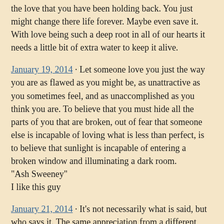the love that you have been holding back. You just might change there life forever. Maybe even save it. With love being such a deep root in all of our hearts it needs a little bit of extra water to keep it alive.
January 19, 2014 · Let someone love you just the way you are as flawed as you might be, as unattractive as you sometimes feel, and as unaccomplished as you think you are. To believe that you must hide all the parts of you that are broken, out of fear that someone else is incapable of loving what is less than perfect, is to believe that sunlight is incapable of entering a broken window and illuminating a dark room.
"Ash Sweeney"
I like this guy
January 21, 2014 · It's not necessarily what is said, but who says it. The same appreciation from a different person can come across as a different perspective. A life changer! Or perhaps a day saver...
January 24, 2014 · Life or death...